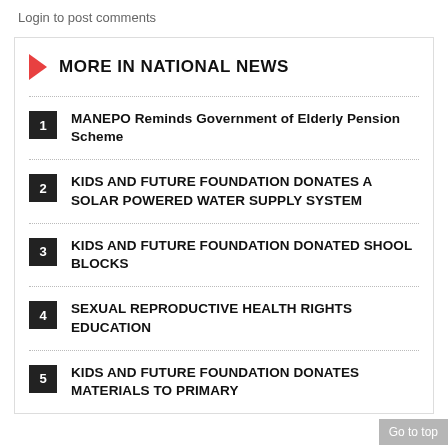Login to post comments
MORE IN NATIONAL NEWS
1 MANEPO Reminds Government of Elderly Pension Scheme
2 KIDS AND FUTURE FOUNDATION DONATES A SOLAR POWERED WATER SUPPLY SYSTEM
3 KIDS AND FUTURE FOUNDATION DONATED SHOOL BLOCKS
4 SEXUAL REPRODUCTIVE HEALTH RIGHTS EDUCATION
5 KIDS AND FUTURE FOUNDATION DONATES MATERIALS TO PRIMARY